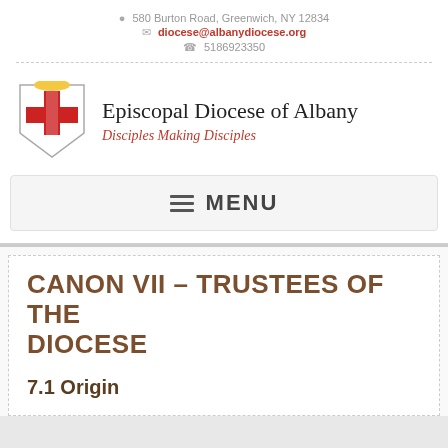580 Burton Road, Greenwich, NY 12834
diocese@albanydiocese.org
5186923350
[Figure (logo): Episcopal Diocese of Albany shield logo with red cross and bishop's mitre]
Episcopal Diocese of Albany
Disciples Making Disciples
MENU
CANON VII – TRUSTEES OF THE DIOCESE
7.1 Origin